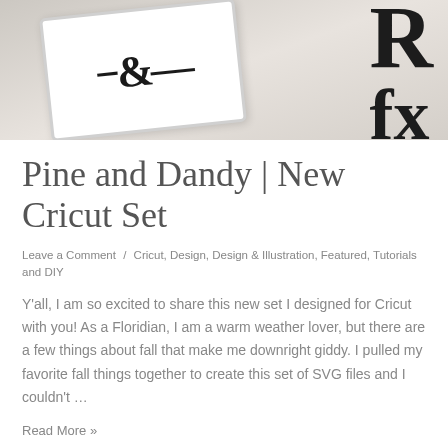[Figure (photo): Photograph of a white ceramic tray with decorative lettering, placed on a neutral linen background with large black letters visible in the background.]
Pine and Dandy | New Cricut Set
Leave a Comment / Cricut, Design, Design & Illustration, Featured, Tutorials and DIY
Y'all, I am so excited to share this new set I designed for Cricut with you! As a Floridian, I am a warm weather lover, but there are a few things about fall that make me downright giddy. I pulled my favorite fall things together to create this set of SVG files and I couldn't …
Read More »